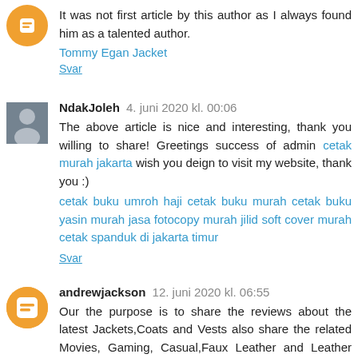It was not first article by this author as I always found him as a talented author.
Tommy Egan Jacket
Svar
NdakJoleh 4. juni 2020 kl. 00:06
The above article is nice and interesting, thank you willing to share! Greetings success of admin cetak murah jakarta wish you deign to visit my website, thank you :)
cetak buku umroh haji cetak buku murah cetak buku yasin murah jasa fotocopy murah jilid soft cover murah cetak spanduk di jakarta timur
Svar
andrewjackson 12. juni 2020 kl. 06:55
Our the purpose is to share the reviews about the latest Jackets,Coats and Vests also share the related Movies, Gaming, Casual,Faux Leather and Leather materials